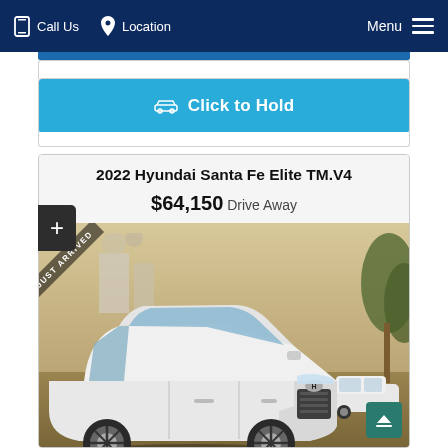Call Us   Location   Menu
Click to Hold
2022 Hyundai Santa Fe Elite TM.V4
$64,150 Drive Away
[Figure (photo): White 2022 Hyundai Santa Fe Elite SUV parked in lot with JUST ARRIVED ribbon in top-left corner of image. Trees and other vehicles visible in background.]